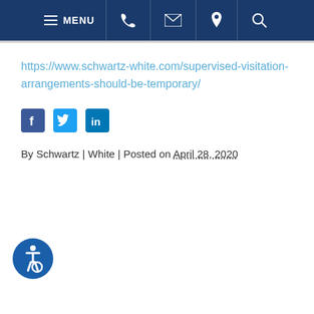MENU [phone] [email] [location] [search]
https://www.schwartz-white.com/supervised-visitation-arrangements-should-be-temporary/
[Figure (other): Social media share icons: Facebook, Twitter, LinkedIn]
By Schwartz | White | Posted on April 28, 2020
[Figure (other): Accessibility icon - wheelchair symbol in blue circle]